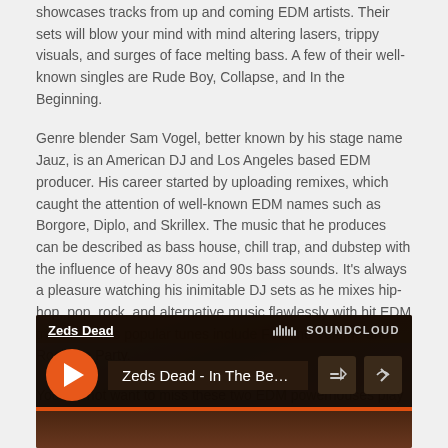showcases tracks from up and coming EDM artists. Their sets will blow your mind with mind altering lasers, trippy visuals, and surges of face melting bass. A few of their well-known singles are Rude Boy, Collapse, and In the Beginning.
Genre blender Sam Vogel, better known by his stage name Jauz, is an American DJ and Los Angeles based EDM producer. His career started by uploading remixes, which caught the attention of well-known EDM names such as Borgore, Diplo, and Skrillex. The music that he produces can be described as bass house, chill trap, and dubstep with the influence of heavy 80s and 90s bass sounds. It's always a pleasure watching his inimitable DJ sets as he mixes hip-hop, pop, rock, and alternative music flawlessly with hit EDM tracks. Jauz's popular tunes include Feel the Volume and Rock the Party.
You will not want to miss these two EDM powerhouses play a back-to-back set together at the Diamond Atrium on Saturday.
[Figure (screenshot): SoundCloud embedded player showing Zeds Dead - In The Begin... with orange play button, dark background, artist name underlined, SoundCloud logo, cart and share icons.]